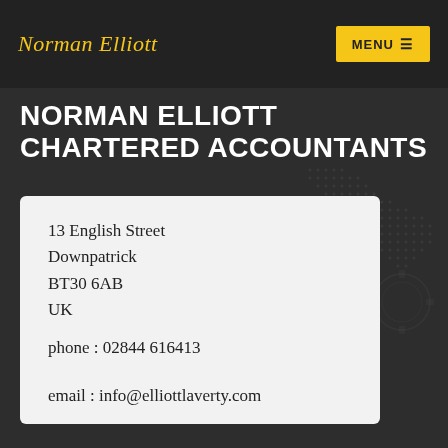Norman Elliott
NORMAN ELLIOTT CHARTERED ACCOUNTANTS
13 English Street
Downpatrick
BT30 6AB
UK

phone : 02844 616413
mobile : 07802 675837
email : info@elliottlaverty.com